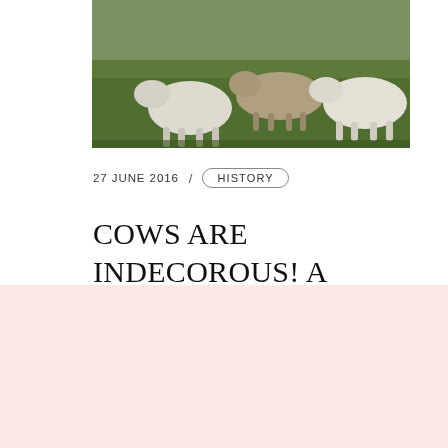[Figure (photo): Cows grazing on green grass field, viewed from the front/side, white and light-colored cattle on lush green pasture]
27 JUNE 2016  /  HISTORY
COWS ARE INDECOROUS! A BRIEF HISTORY OF PARKS